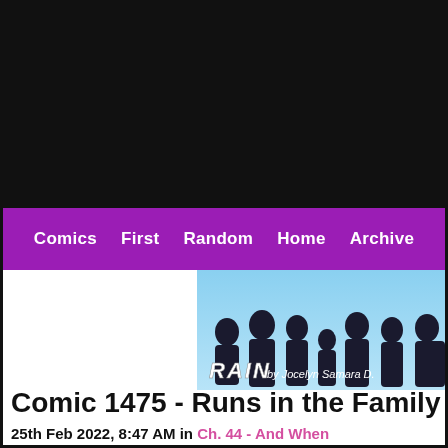[Figure (screenshot): Black header area of a webcomic website]
Comics | First | Random | Home | Archive
[Figure (illustration): RAIN by Jocelyn Samara D. - banner with silhouettes of characters against a blue sky]
Comic 1475 - Runs in the Family
25th Feb 2022, 8:47 AM in Ch. 44 - And When